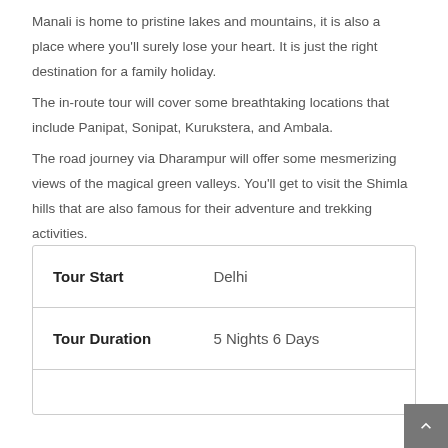Manali is home to pristine lakes and mountains, it is also a place where you'll surely lose your heart. It is just the right destination for a family holiday.
The in-route tour will cover some breathtaking locations that include Panipat, Sonipat, Kurukstera, and Ambala.
The road journey via Dharampur will offer some mesmerizing views of the magical green valleys. You'll get to visit the Shimla hills that are also famous for their adventure and trekking activities.
|  |  |
| --- | --- |
| Tour Start | Delhi |
| Tour Duration | 5 Nights 6 Days |